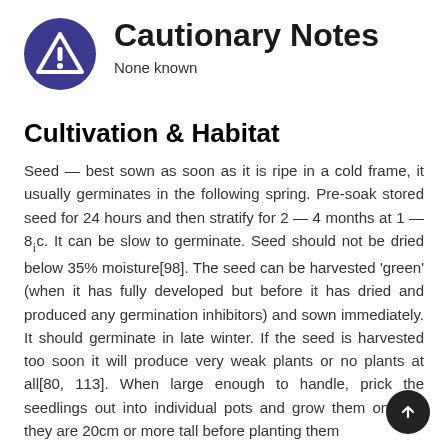Cautionary Notes
None known
Cultivation & Habitat
Seed — best sown as soon as it is ripe in a cold frame, it usually germinates in the following spring. Pre-soak stored seed for 24 hours and then stratify for 2 — 4 months at 1 — 8¡c. It can be slow to germinate. Seed should not be dried below 35% moisture[98]. The seed can be harvested 'green' (when it has fully developed but before it has dried and produced any germination inhibitors) and sown immediately. It should germinate in late winter. If the seed is harvested too soon it will produce very weak plants or no plants at all[80, 113]. When large enough to handle, prick the seedlings out into individual pots and grow them on until they are 20cm or more tall before planting them